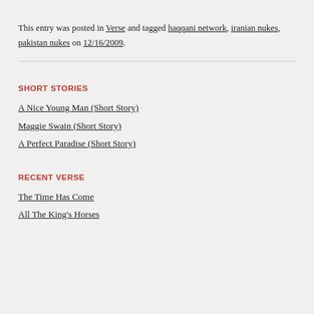This entry was posted in Verse and tagged haqqani network, iranian nukes, pakistan nukes on 12/16/2009.
SHORT STORIES
A Nice Young Man (Short Story)
Maggie Swain (Short Story)
A Perfect Paradise (Short Story)
RECENT VERSE
The Time Has Come
All The King's Horses